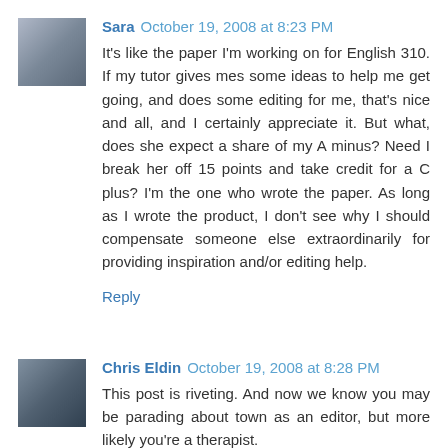Sara  October 19, 2008 at 8:23 PM
It's like the paper I'm working on for English 310. If my tutor gives mes some ideas to help me get going, and does some editing for me, that's nice and all, and I certainly appreciate it. But what, does she expect a share of my A minus? Need I break her off 15 points and take credit for a C plus? I'm the one who wrote the paper. As long as I wrote the product, I don't see why I should compensate someone else extraordinarily for providing inspiration and/or editing help.
Reply
Chris Eldin  October 19, 2008 at 8:28 PM
This post is riveting. And now we know you may be parading about town as an editor, but more likely you're a therapist.
:-)
Reply